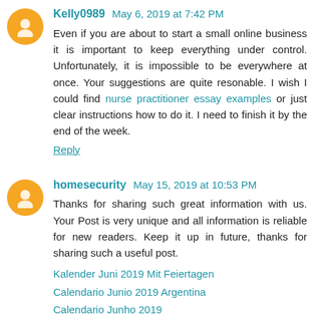Kelly0989 May 6, 2019 at 7:42 PM
Even if you are about to start a small online business it is important to keep everything under control. Unfortunately, it is impossible to be everywhere at once. Your suggestions are quite resonable. I wish I could find nurse practitioner essay examples or just clear instructions how to do it. I need to finish it by the end of the week.
Reply
homesecurity May 15, 2019 at 10:53 PM
Thanks for sharing such great information with us. Your Post is very unique and all information is reliable for new readers. Keep it up in future, thanks for sharing such a useful post.
Kalender Juni 2019 Mit Feiertagen
Calendario Junio 2019 Argentina
Calendario Junho 2019
Reply